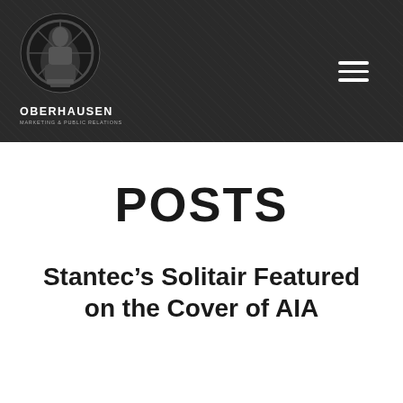[Figure (logo): Oberhausen Marketing & Public Relations logo with circular sculpture graphic, white text on dark background header with hamburger menu icon]
POSTS
Stantec’s Solitair Featured on the Cover of AIA